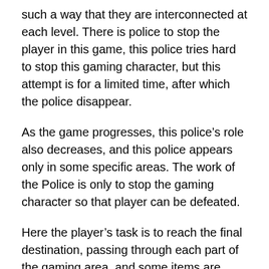such a way that they are interconnected at each level. There is police to stop the player in this game, this police tries hard to stop this gaming character, but this attempt is for a limited time, after which the police disappear.
As the game progresses, this police’s role also decreases, and this police appears only in some specific areas. The work of the Police is only to stop the gaming character so that player can be defeated.
Here the player’s task is to reach the final destination, passing through each part of the gaming area, and some items are hidden in each area of the game. The players’ task is to collect these hidden items. This hidden area also holds Graffiti Souls, which unlock the ne…